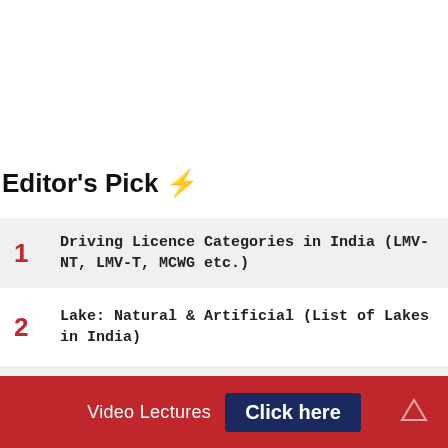Editor's Pick ⚡
1  Driving Licence Categories in India (LMV-NT, LMV-T, MCWG etc.)
2  Lake: Natural & Artificial (List of Lakes in India)
3  List of Treaties in Indian History
Video Lectures  Click here